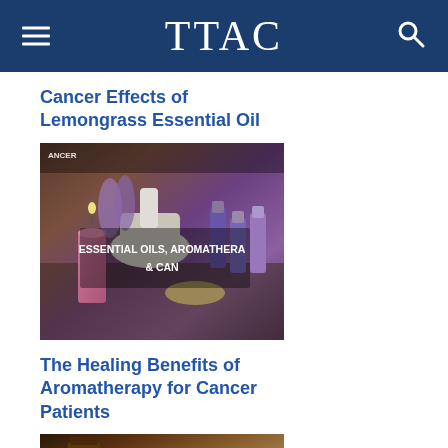TTAC
Cancer Effects of Lemongrass Essential Oil
[Figure (photo): Photo of essential oils aromatherapy setup with lavender, candles, mortar and pestle, and purple bottles with text overlay 'ESSENTIAL OILS, AROMATHERAPY & CANCER']
The Healing Benefits of Aromatherapy for Cancer Patients
[Figure (photo): Photo of a brown glass essential oil bottle with a wooden scoop and dried herbs/botanicals on a dark wooden surface]